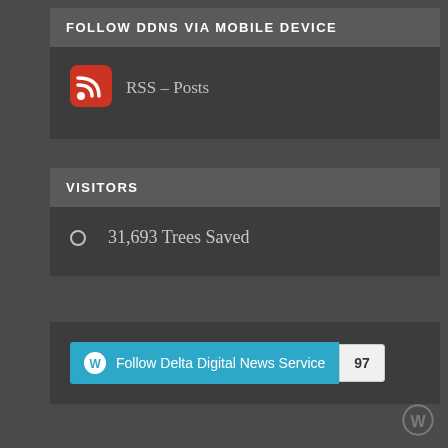FOLLOW DDNS VIA MOBILE DEVICE
[Figure (logo): RSS feed icon - red rounded square with white RSS signal symbol]
RSS - Posts
VISITORS
31,693 Trees Saved
[Figure (logo): WordPress follow button reading 'Follow Delta Digital News Service' with count badge showing 97]
WordPress logo icon